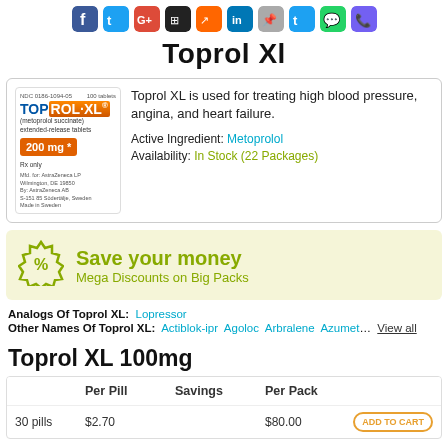[Figure (other): Row of social media sharing icons (Facebook, Twitter, Google+, and others) at the top of the page]
Toprol Xl
[Figure (photo): Toprol XL 200mg drug package label image showing NDC code, 100 tablets, metoprolol succinate extended-release tablets, Rx only, manufactured by AstraZeneca]
Toprol XL is used for treating high blood pressure, angina, and heart failure.
Active Ingredient: Metoprolol
Availability: In Stock (22 Packages)
[Figure (other): Discount badge icon with percent symbol]
Save your money
Mega Discounts on Big Packs
Analogs Of Toprol XL:   Lopressor
Other Names Of Toprol XL:   Actiblok-ipr  Agoloc  Arbralene  Azumet  View all
Toprol XL 100mg
|  | Per Pill | Savings | Per Pack |  |
| --- | --- | --- | --- | --- |
| 30 pills | $2.70 |  | $80.00 | ADD TO CART |